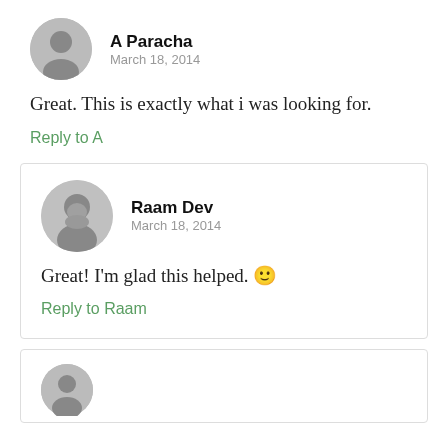A Paracha
March 18, 2014
Great. This is exactly what i was looking for.
Reply to A
Raam Dev
March 18, 2014
Great! I'm glad this helped. 🙂
Reply to Raam